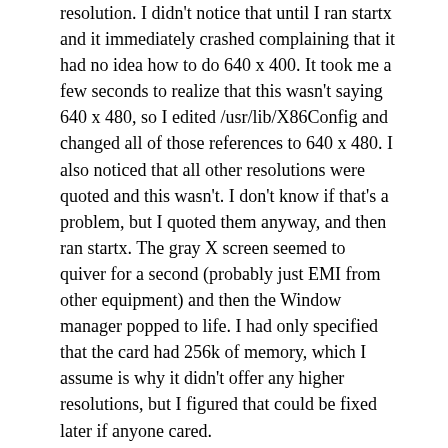resolution. I didn't notice that until I ran startx and it immediately crashed complaining that it had no idea how to do 640 x 400. It took me a few seconds to realize that this wasn't saying 640 x 480, so I edited /usr/lib/X86Config and changed all of those references to 640 x 480. I also noticed that all other resolutions were quoted and this wasn't. I don't know if that's a problem, but I quoted them anyway, and then ran startx. The gray X screen seemed to quiver for a second (probably just EMI from other equipment) and then the Window manager popped to life. I had only specified that the card had 256k of memory, which I assume is why it didn't offer any higher resolutions, but I figured that could be fixed later if anyone cared.
Incoming Modem
I couldn't find a HOWTO or any docs on setting up a modem for incoming calls. Obviously that's the first thing that has to be done for incoming PPP, and in fact the PPP HOWTO says that it won't cover that configuration, and refers to the serial HOWTO, but